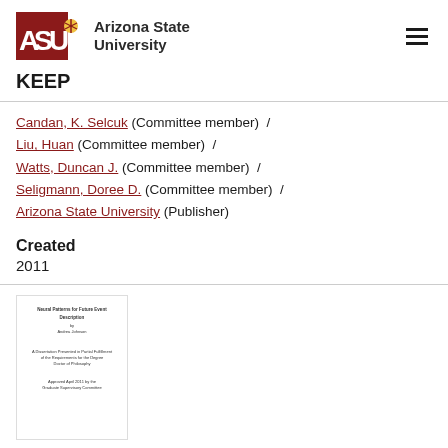[Figure (logo): Arizona State University logo with ASU text and sunburst icon, alongside 'Arizona State University' wordmark]
KEEP
Candan, K. Selcuk (Committee member)  /  Liu, Huan (Committee member)  /  Watts, Duncan J. (Committee member)  /  Seligmann, Doree D. (Committee member)  /  Arizona State University (Publisher)
Created
2011
[Figure (photo): Thumbnail image of a document/dissertation title page from Arizona State University]